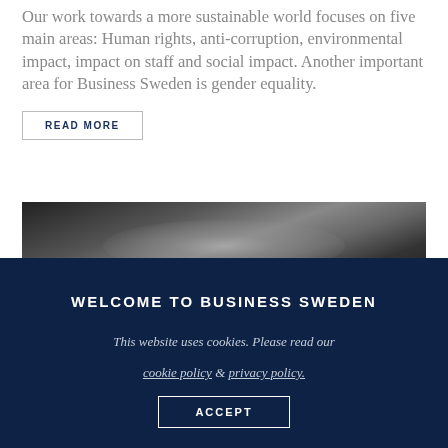Our work towards a more sustainable world focuses on five main areas: Human rights, anti-corruption, environmental impact, impact on staff and social impact. Another important area for Business Sweden is gender equality.
READ MORE
[Figure (photo): Black and white blurred photo of people or objects, dark background with lighter blurred central area.]
WELCOME TO BUSINESS SWEDEN
This website uses cookies. Please read our cookie policy & privacy policy.
ACCEPT